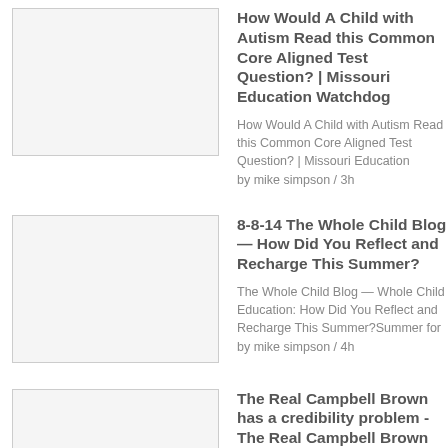[Figure (photo): Thumbnail image placeholder (empty white/gray box) for first article]
How Would A Child with Autism Read this Common Core Aligned Test Question? | Missouri Education Watchdog
How Would A Child with Autism Read this Common Core Aligned Test Question? | Missouri Education by mike simpson / 3h
[Figure (photo): Thumbnail image placeholder (empty white/gray box) for second article]
8-8-14 The Whole Child Blog — How Did You Reflect and Recharge This Summer?
The Whole Child Blog — Whole Child Education: How Did You Reflect and Recharge This Summer?Summer for by mike simpson / 4h
[Figure (photo): Thumbnail image placeholder (empty white/gray box) for third article]
The Real Campbell Brown has a credibility problem - The Real Campbell Brown
The Real Campbell Brown has a credibility problem - The Real Campbell Brown: The Real Campbell